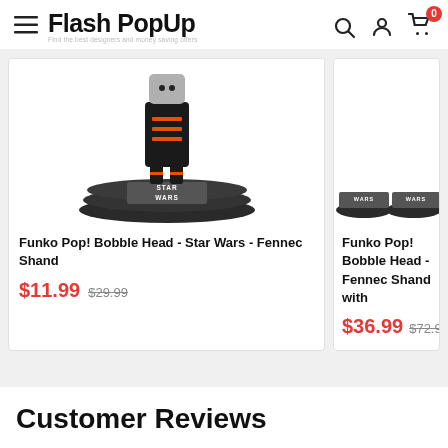Flash PopUp — navigation header with hamburger menu, logo, search, account, and cart icons
[Figure (photo): Funko Pop! Bobble Head Star Wars Fennec Shand product photo with Star Wars branded base]
Funko Pop! Bobble Head - Star Wars - Fennec Shand
$11.99  $29.99
[Figure (photo): Funko Pop! Bobble Head Fennec Shand with (partially visible) product photo with Star Wars branded base]
Funko Pop! Bobble Head - Fennec Shand with
$36.99  $72.99
Customer Reviews